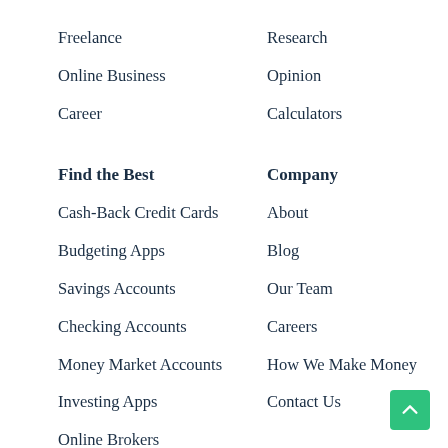Freelance
Online Business
Career
Research
Opinion
Calculators
Find the Best
Company
Cash-Back Credit Cards
About
Budgeting Apps
Blog
Savings Accounts
Our Team
Checking Accounts
Careers
Money Market Accounts
How We Make Money
Investing Apps
Contact Us
Online Brokers